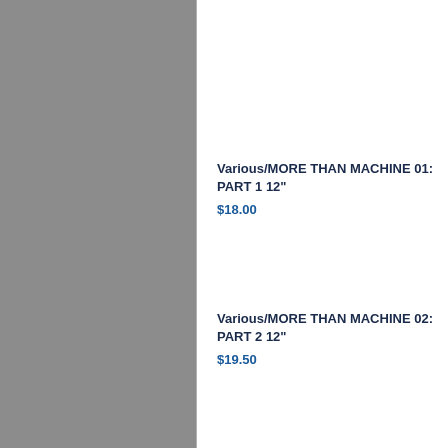Various/MORE THAN MACHINE 01: PART 1 12"
$18.00
Various/MORE THAN MACHINE 02: PART 2 12"
$19.50
Vario...
PAR...
$18.0...
Vario...
DLP...
$37.5...